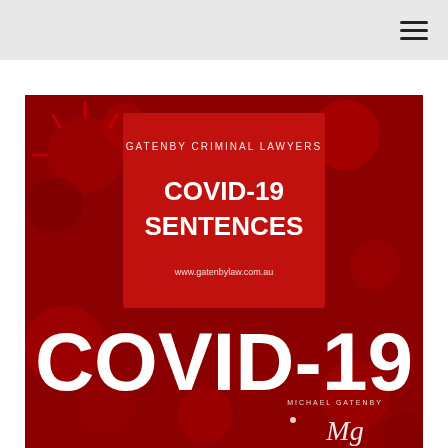Navigation header with hamburger menu
[Figure (illustration): Red background image with COVID-19 virus particles. Contains a dark red rectangle overlay in the upper center with text: 'GATENBY CRIMINAL LAWYERS', 'COVID-19 SENTENCES', 'www.gatenbylaw.com.au'. Large white bold text 'COVID-19' spans the lower portion of the image. Bottom right contains circular logo text 'MICHAEL GATENBY' with a stylized MG signature.]